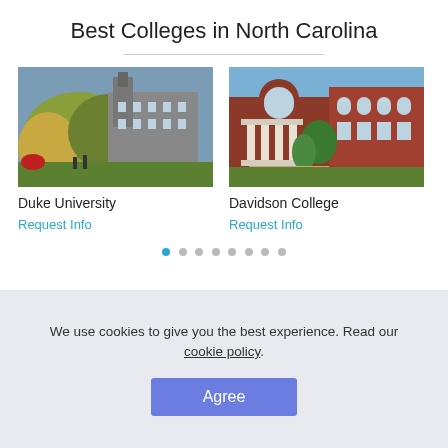Best Colleges in North Carolina
[Figure (photo): Campus photo of Duke University showing Gothic-style stone building surrounded by colorful autumn trees]
[Figure (photo): Campus photo of Davidson College showing red brick building with classical white columns and green lawns]
Duke University
Davidson College
Request Info
Request Info
We use cookies to give you the best experience. Read our cookie policy.
Agree